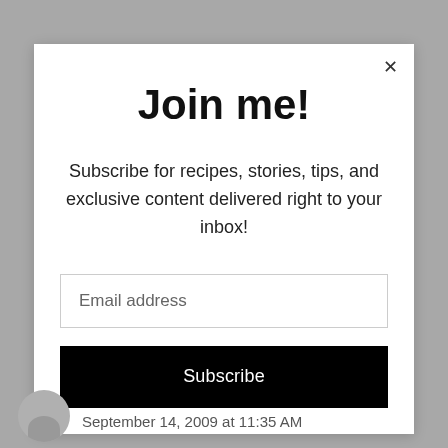Join me!
Subscribe for recipes, stories, tips, and exclusive content delivered right to your inbox!
Email address
Subscribe
September 14, 2009 at 11:35 AM